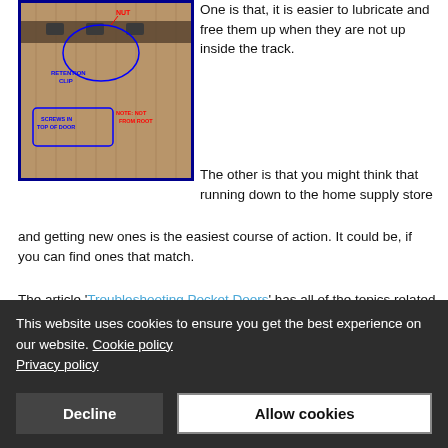[Figure (photo): Annotated photo of a pocket door track mechanism showing parts labeled: NUT, RETENTION CLIP, SCREWS IN TOP OF DOOR, NOTE: NOT FROM ROOT. Blue outline circles highlight components on a wooden door surface.]
One is that, it is easier to lubricate and free them up when they are not up inside the track.
The other is that you might think that running down to the home supply store and getting new ones is the easiest course of action. It could be, if you can find ones that match.
The article 'Troubleshooting Pocket Doors' has all of the topics related to this subject. If this is not your problem, try this link.
Pocket Door Hardware Concerns
One thing you need to realize is that there are no standards for
This website uses cookies to ensure you get the best experience on our website. Cookie policy Privacy policy